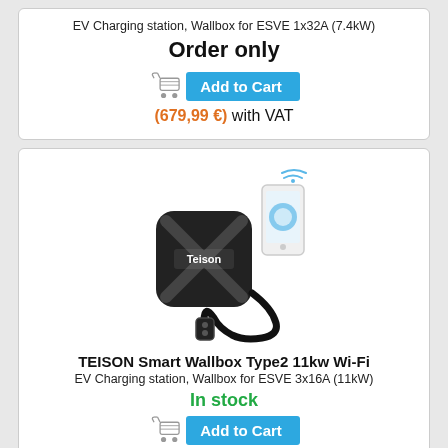EV Charging station, Wallbox for ESVE 1x32A (7.4kW)
Order only
[Figure (other): Add to Cart button with shopping cart icon]
(679,99 €) with VAT
[Figure (photo): TEISON Smart Wallbox charger product photo with smartphone showing app]
TEISON Smart Wallbox Type2 11kw Wi-Fi
EV Charging station, Wallbox for ESVE 3x16A (11kW)
In stock
[Figure (other): Add to Cart button with shopping cart icon (partially visible)]